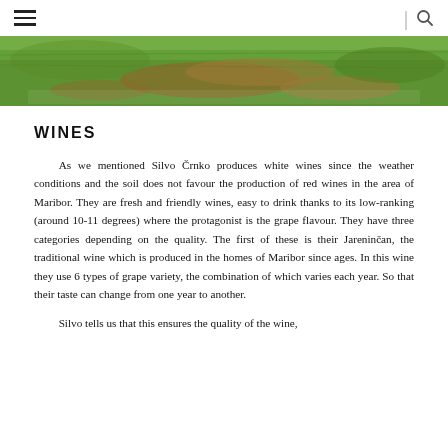☰  |  🔍
[Figure (photo): Photograph showing a grassy field or vineyard landscape, viewed from above or at an angle. Green grass with brown earthy patches visible.]
WINES
As we mentioned Silvo Črnko produces white wines since the weather conditions and the soil does not favour the production of red wines in the area of Maribor. They are fresh and friendly wines, easy to drink thanks to its low-ranking (around 10-11 degrees) where the protagonist is the grape flavour. They have three categories depending on the quality. The first of these is their Jareninčan, the traditional wine which is produced in the homes of Maribor since ages. In this wine they use 6 types of grape variety, the combination of which varies each year. So that their taste can change from one year to another.
Silvo tells us that this ensures the quality of the wine,